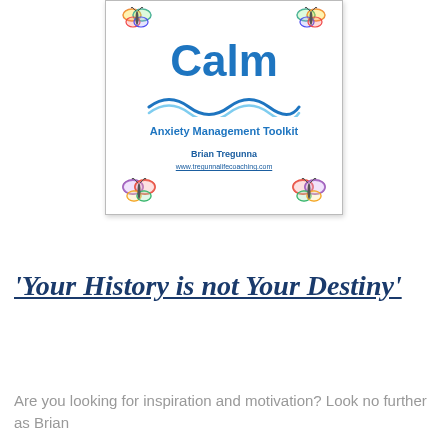[Figure (illustration): Book cover for 'Calm: Anxiety Management Toolkit' by Brian Tregunna. White background with blue title text, wavy blue line decoration, subtitle, author name, website URL, and colorful butterfly graphics in corners.]
'Your History is not Your Destiny'
Are you looking for inspiration and motivation? Look no further as Brian